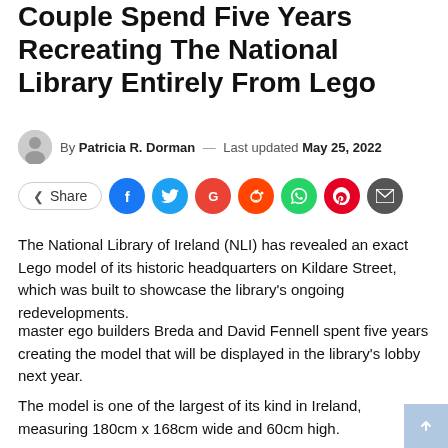Couple Spend Five Years Recreating The National Library Entirely From Lego
By Patricia R. Dorman — Last updated May 25, 2022
[Figure (infographic): Social share buttons row: Share button outline, then circular icons for Facebook, Twitter, Google, Reddit, WhatsApp, Pinterest, Email]
The National Library of Ireland (NLI) has revealed an exact Lego model of its historic headquarters on Kildare Street, which was built to showcase the library's ongoing redevelopments.
master ego builders Breda and David Fennell spent five years creating the model that will be displayed in the library's lobby next year.
The model is one of the largest of its kind in Ireland, measuring 180cm x 168cm wide and 60cm high.